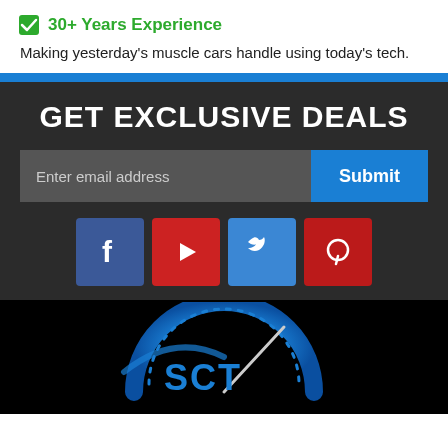✓ 30+ Years Experience
Making yesterday's muscle cars handle using today's tech.
GET EXCLUSIVE DEALS
Enter email address | Submit
[Figure (infographic): Social media icons: Facebook (blue), YouTube (red), Twitter (blue), Pinterest (red)]
[Figure (logo): SCT logo on black background — blue speedometer/compass-style logo]